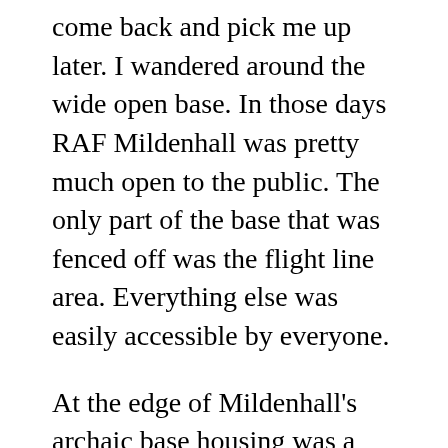come back and pick me up later. I wandered around the wide open base. In those days RAF Mildenhall was pretty much open to the public. The only part of the base that was fenced off was the flight line area. Everything else was easily accessible by everyone.
At the edge of Mildenhall's archaic base housing was a bus stop and a place called Mickey's T bar. It boasted American style food and seating. I went in and ordered a double cheese burger. When the owner brought me the burger he pointed to an American style mustard bottle and said if I